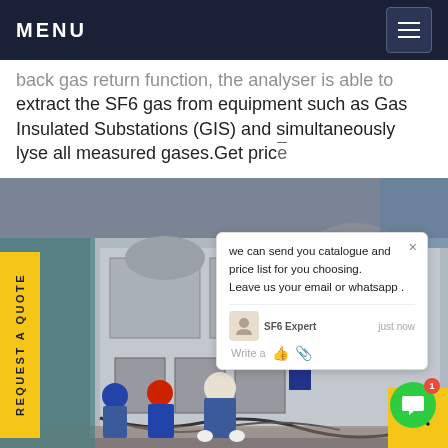MENU
back gas return function, the analyser is able to extract the SF6 gas from equipment such as Gas Insulated Substations (GIS) and simultaneously analyse all measured gases.Get price
[Figure (photo): Workers in blue overalls and hard hats working on a large industrial grey machine/compressor unit outdoors]
REQUEST A QUOTE
we can send you catalogue and price list for you choosing.
Leave us your email or whatsapp .

SF6 Expert   just now
Write a
[Figure (other): Green chat bubble button with red notification badge showing 1]